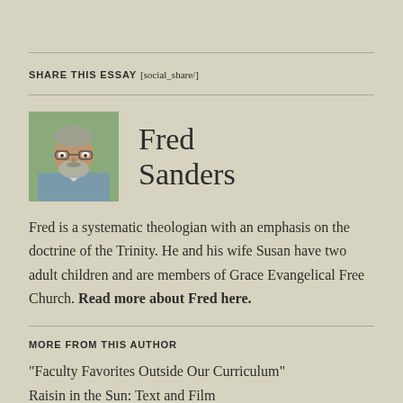SHARE THIS ESSAY [social_share/]
[Figure (photo): Headshot photo of Fred Sanders, a middle-aged man with gray hair and beard wearing glasses]
Fred Sanders
Fred is a systematic theologian with an emphasis on the doctrine of the Trinity. He and his wife Susan have two adult children and are members of Grace Evangelical Free Church. Read more about Fred here.
MORE FROM THIS AUTHOR
“Faculty Favorites Outside Our Curriculum”
Raisin in the Sun: Text and Film
The Gates of Linden Hills